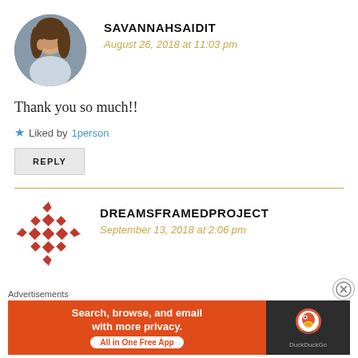[Figure (photo): Circular avatar photo of a woman with long wavy hair, hand near face]
SAVANNAHSAIDIT
August 26, 2018 at 11:03 pm
Thank you so much!!
★ Liked by 1person
REPLY
[Figure (logo): Red geometric snowflake/diamond pattern logo for DREAMSFRAMEDPROJECT]
DREAMSFRAMEDPROJECT
September 13, 2018 at 2:06 pm
Advertisements
[Figure (screenshot): DuckDuckGo advertisement banner: Search, browse, and email with more privacy. All in One Free App]